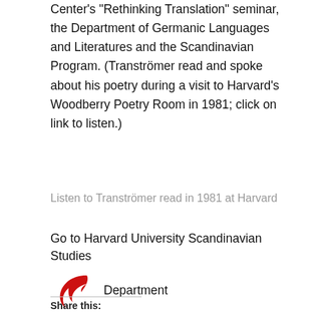Center's "Rethinking Translation" seminar, the Department of Germanic Languages and Literatures and the Scandinavian Program. (Tranströmer read and spoke about his poetry during a visit to Harvard's Woodberry Poetry Room in 1981; click on link to listen.)
Listen to Tranströmer read in 1981 at Harvard
Go to Harvard University Scandinavian Studies Department
[Figure (illustration): Red curved arrow pointing left and down]
Share this: